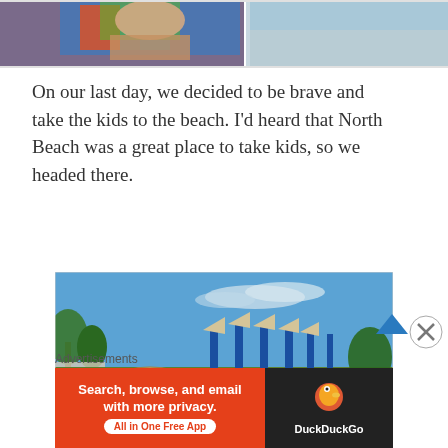[Figure (photo): Partial photo at top of page showing what appears to be a child at the beach, cropped]
On our last day, we decided to be brave and take the kids to the beach. I'd heard that North Beach was a great place to take kids, so we headed there.
[Figure (photo): Outdoor playground shaped like a pirate ship with blue poles and tan canopies, set on a red rubber surface with palm trees and blue sky in background]
Advertisements
[Figure (screenshot): DuckDuckGo advertisement banner: orange left side with text 'Search, browse, and email with more privacy. All in One Free App' and dark right side with DuckDuckGo duck logo and name]